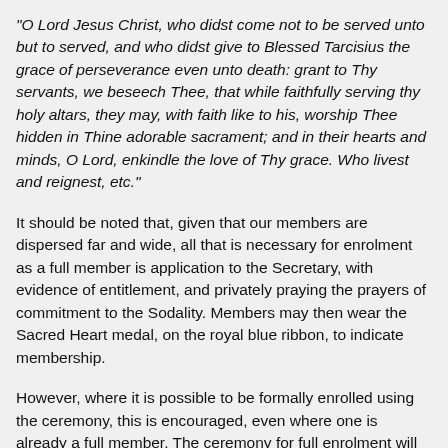"O Lord Jesus Christ, who didst come not to be served unto but to served, and who didst give to Blessed Tarcisius the grace of perseverance even unto death: grant to Thy servants, we beseech Thee, that while faithfully serving thy holy altars, they may, with faith like to his, worship Thee hidden in Thine adorable sacrament; and in their hearts and minds, O Lord, enkindle the love of Thy grace. Who livest and reignest, etc."
It should be noted that, given that our members are dispersed far and wide, all that is necessary for enrolment as a full member is application to the Secretary, with evidence of entitlement, and privately praying the prayers of commitment to the Sodality. Members may then wear the Sacred Heart medal, on the royal blue ribbon, to indicate membership.
However, where it is possible to be formally enrolled using the ceremony, this is encouraged, even where one is already a full member. The ceremony for full enrolment will be made available to MCs and priests who wish to use it, on application to the Secretary.